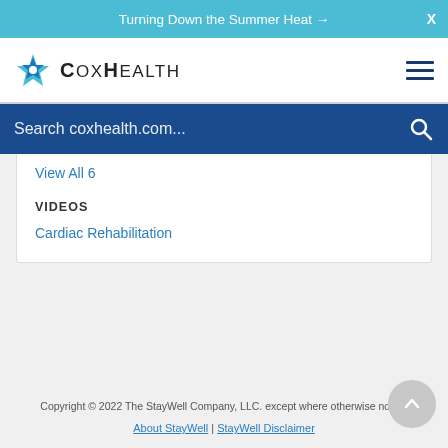Turning Down the Summer Heat →
[Figure (logo): CoxHealth logo with blue star/compass icon and bold text 'CoxHealth']
Search coxhealth.com...
View All 6
VIDEOS
Cardiac Rehabilitation
Copyright © 2022 The StayWell Company, LLC. except where otherwise noted.
About StayWell | StayWell Disclaimer